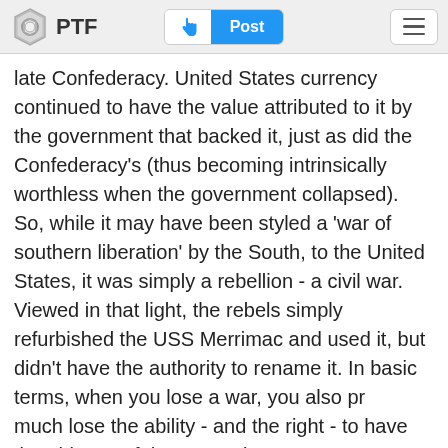PTF | Post
late Confederacy. United States currency continued to have the value attributed to it by the government that backed it, just as did the Confederacy's (thus becoming intrinsically worthless when the government collapsed). So, while it may have been styled a 'war of southern liberation' by the South, to the United States, it was simply a rebellion - a civil war. Viewed in that light, the rebels simply refurbished the USS Merrimac and used it, but didn't have the authority to rename it. In basic terms, when you lose a war, you also pretty much lose the ability - and the right - to have the history of that war written your way.
The south lost. Get over it. -- C.R. Krieger (Been there; done that)